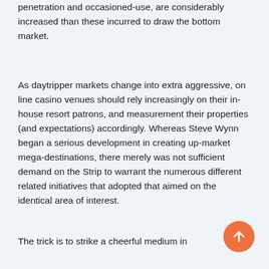penetration and occasioned-use, are considerably increased than these incurred to draw the bottom market.
As daytripper markets change into extra aggressive, on line casino venues should rely increasingly on their in-house resort patrons, and measurement their properties (and expectations) accordingly. Whereas Steve Wynn began a serious development in creating up-market mega-destinations, there merely was not sufficient demand on the Strip to warrant the numerous different related initiatives that adopted that aimed on the identical area of interest.
The trick is to strike a cheerful medium in